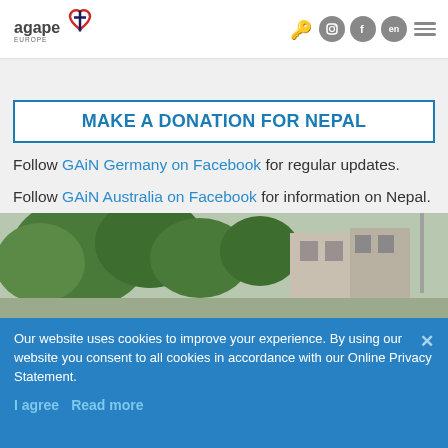Agape Europe — navigation header with logo and icons
others to support this trusted organization.
MAKE A DONATION FOR NEPAL
Follow GAiN Germany on Facebook for regular updates.
Follow GAiN Australia on Facebook for information on Nepal.
[Figure (photo): Photo of buildings and trees, appears to show earthquake-damaged structures in Nepal]
Our website uses cookies to improve your experience. By using our website you consent to all cookies in accordance with our Online Privacy Statement. I agree Read more